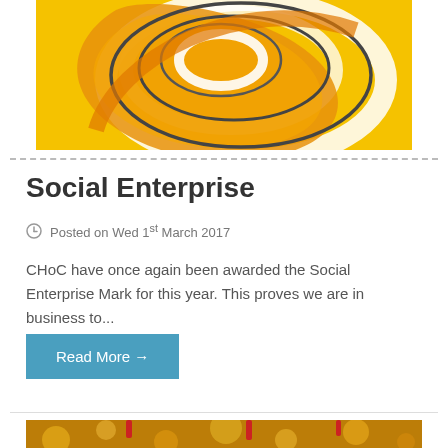[Figure (illustration): Yellow background with abstract swirling spiral design in orange, white, and dark grey lines — partial view, cropped at top]
Social Enterprise
Posted on Wed 1st March 2017
CHoC have once again been awarded the Social Enterprise Mark for this year. This proves we are in business to...
Read More →
[Figure (photo): Partial view of a festive/celebration photo with golden bokeh lights and red decorations, cropped at bottom of page]